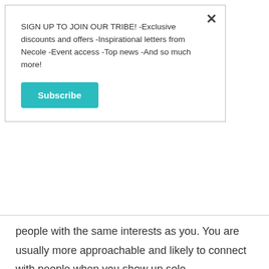SIGN UP TO JOIN OUR TRIBE! -Exclusive discounts and offers -Inspirational letters from Necole -Event access -Top news -And so much more!
Subscribe
people with the same interests as you. You are usually more approachable and likely to connect with people when you show up solo.
4. Choose accomr
With remote work a
more popularity, ma